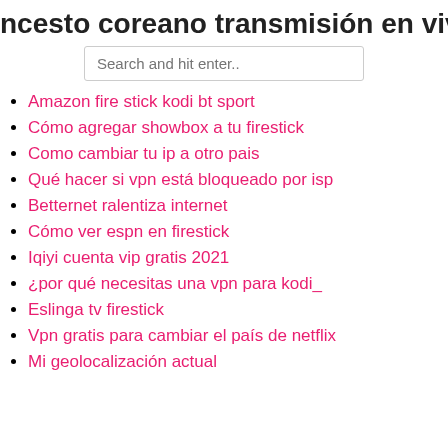ncesto coreano transmisión en vivo n
[Figure (other): Search input box with placeholder text 'Search and hit enter..']
Amazon fire stick kodi bt sport
Cómo agregar showbox a tu firestick
Como cambiar tu ip a otro pais
Qué hacer si vpn está bloqueado por isp
Betternet ralentiza internet
Cómo ver espn en firestick
Iqiyi cuenta vip gratis 2021
¿por qué necesitas una vpn para kodi_
Eslinga tv firestick
Vpn gratis para cambiar el país de netflix
Mi geolocalización actual